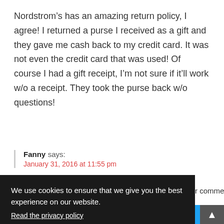Nordstrom’s has an amazing return policy, I agree! I returned a purse I received as a gift and they gave me cash back to my credit card. It was not even the credit card that was used! Of course I had a gift receipt, I’m not sure if it’ll work w/o a receipt. They took the purse back w/o questions!
Fanny says: January 31, 2016 at 11:55 pm
r comment!
We use cookies to ensure that we give you the best experience on our website. Read the privacy policy Agree and Close